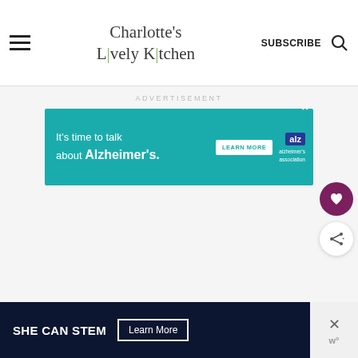Charlotte's Lively Kitchen
ADVERTISEMENT
[Figure (screenshot): Alzheimer's Association advertisement banner: teal background with text 'It’s time to talk about Alzheimer’s.' and a 'LEARN MORE' button and Alzheimer's Association logo]
[Figure (screenshot): SHE CAN STEM advertisement banner with dark background and 'Learn More' button]
[Figure (other): Floating heart/save button (purple circle) and share button (white circle with share icon)]